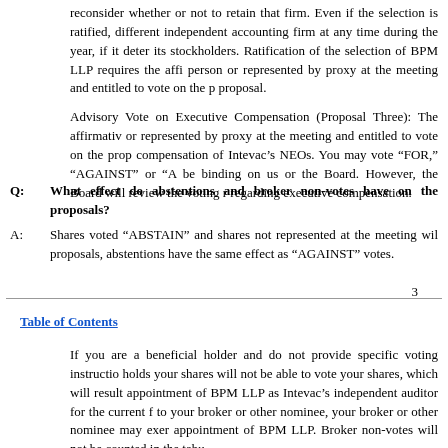reconsider whether or not to retain that firm. Even if the selection is ratified, different independent accounting firm at any time during the year, if it deter its stockholders. Ratification of the selection of BPM LLP requires the affi person or represented by proxy at the meeting and entitled to vote on the p proposal.
Advisory Vote on Executive Compensation (Proposal Three): The affirmativ or represented by proxy at the meeting and entitled to vote on the prop compensation of Intevac’s NEOs. You may vote “FOR,” “AGAINST” or “A be binding on us or the Board. However, the Board will review the voting r regarding executive compensation.
Q: What effect do abstentions and broker non-votes have on the proposals?
A: Shares voted “ABSTAIN” and shares not represented at the meeting wil proposals, abstentions have the same effect as “AGAINST” votes.
3
Table of Contents
If you are a beneficial holder and do not provide specific voting instructio holds your shares will not be able to vote your shares, which will result appointment of BPM LLP as Intevac’s independent auditor for the current f to your broker or other nominee, your broker or other nominee may exer appointment of BPM LLP. Broker non-votes will not be counted in the tabu